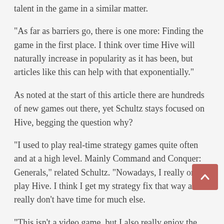talent in the game in a similar matter.
“As far as barriers go, there is one more: Finding the game in the first place. I think over time Hive will naturally increase in popularity as it has been, but articles like this can help with that exponentially.”
As noted at the start of this article there are hundreds of new games out there, yet Schultz stays focused on Hive, begging the question why?
“I used to play real-time strategy games quite often and at a high level. Mainly Command and Conquer: Generals,” related Schultz. “Nowadays, I really only play Hive. I think I get my strategy fix that way and I really don’t have time for much else.
“This isn’t a video game, but I also really enjoy the physical ‘game’ of Judo. Many of the concepts I have learned from Judo have helped me a tremendous amount in Hive.
“Hive, at its core, has a beautiful simplicity to it. No fancy